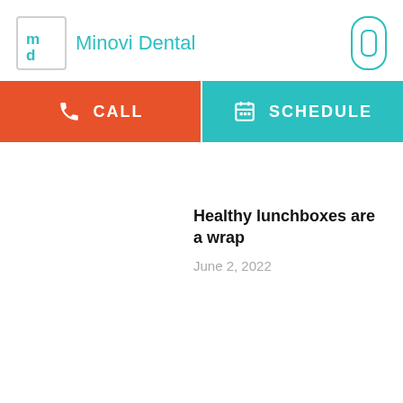[Figure (logo): Minovi Dental logo with stylized 'md' letters in a bordered box and teal brand name text]
[Figure (other): Teal pill/capsule icon in top right corner]
[Figure (other): Orange CALL button with phone icon]
[Figure (other): Teal SCHEDULE button with calendar icon]
Healthy lunchboxes are a wrap
June 2, 2022